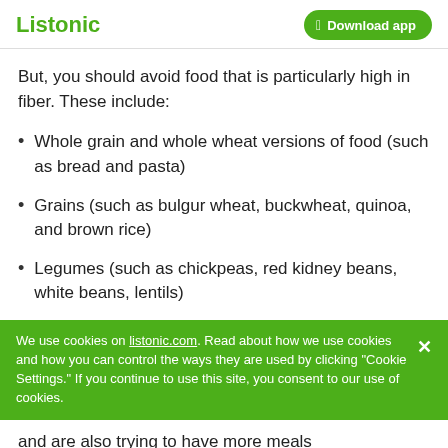Listonic | Download app
But, you should avoid food that is particularly high in fiber. These include:
Whole grain and whole wheat versions of food (such as bread and pasta)
Grains (such as bulgur wheat, buckwheat, quinoa, and brown rice)
Legumes (such as chickpeas, red kidney beans, white beans, lentils)
We use cookies on listonic.com. Read about how we use cookies and how you can control the ways they are used by clicking "Cookie Settings." If you continue to use this site, you consent to our use of cookies.
and are also trying to have more meals